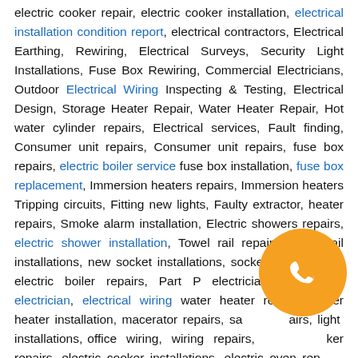electric cooker repair, electric cooker installation, electrical installation condition report, electrical contractors, Electrical Earthing, Rewiring, Electrical Surveys, Security Light Installations, Fuse Box Rewiring, Commercial Electricians, Outdoor Electrical Wiring Inspecting & Testing, Electrical Design, Storage Heater Repair, Water Heater Repair, Hot water cylinder repairs, Electrical services, Fault finding, Consumer unit repairs, Consumer unit repairs, fuse box repairs, electric boiler service fuse box installation, fuse box replacement, Immersion heaters repairs, Immersion heaters Tripping circuits, Fitting new lights, Faulty extractor, heater repairs, Smoke alarm installation, Electric showers repairs, electric shower installation, Towel rail repairs, towel rail installations, new socket installations, socket replacement, electric boiler repairs, Part P electrician, emergency electrician, electrical wiring water heater repairs, water heater installation, macerator repairs, sanitary repairs, light installations, office wiring, wiring repairs, cooker repairs, electric cooker installations, electric oven repairs, electrical maintenance electric oven installations, Periodic electrical test, electrical inspection, Landlord electrical inspection, Homebuyers
[Figure (other): Orange circular phone call button with white phone handset icon]